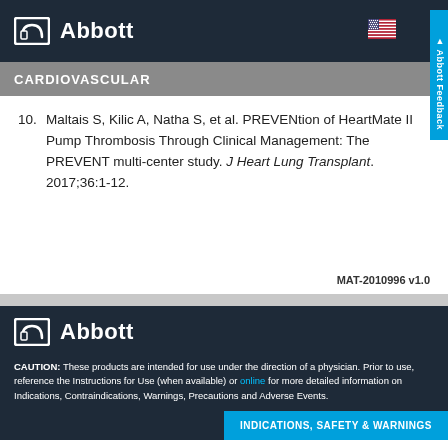Abbott
CARDIOVASCULAR
10. Maltais S, Kilic A, Natha S, et al. PREVENtion of HeartMate II Pump Thrombosis Through Clinical Management: The PREVENT multi-center study. J Heart Lung Transplant. 2017;36:1-12.
MAT-2010996 v1.0
Abbott
CAUTION: These products are intended for use under the direction of a physician. Prior to use, reference the Instructions for Use (when available) or online for more detailed information on Indications, Contraindications, Warnings, Precautions and Adverse Events.